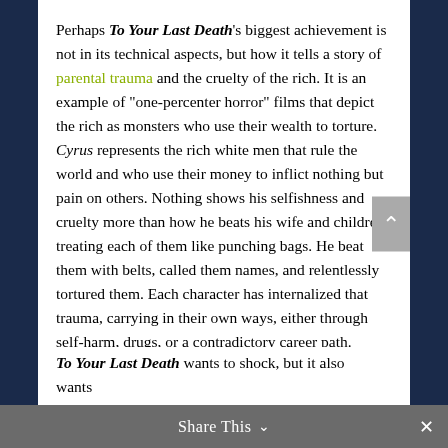Perhaps To Your Last Death's biggest achievement is not in its technical aspects, but how it tells a story of parental trauma and the cruelty of the rich. It is an example of "one-percenter horror" films that depict the rich as monsters who use their wealth to torture. Cyrus represents the rich white men that rule the world and who use their money to inflict nothing but pain on others. Nothing shows his selfishness and cruelty more than how he beats his wife and children, treating each of them like punching bags. He beat them with belts, called them names, and relentlessly tortured them. Each character has internalized that trauma, carrying in their own ways, either through self-harm, drugs, or a contradictory career path.
Share This
To Your Last Death wants to shock, but it also wants